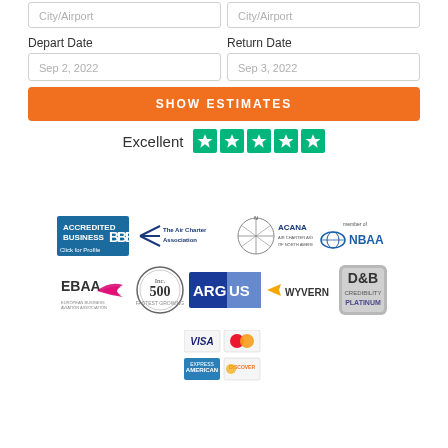City/Airport
City/Airport
Depart Date
Return Date
Sep 2, 2022
Sep 3, 2022
SHOW ESTIMATES
Excellent
[Figure (logo): Five green Trustpilot star rating boxes]
[Figure (logo): BBB Accredited Business Click for Profile logo]
[Figure (logo): The Air Charter Association logo]
[Figure (logo): ACANA Air Charter Association of North America logo]
[Figure (logo): NBAA member of logo]
[Figure (logo): EBAA logo]
[Figure (logo): Inc 500 logo]
[Figure (logo): ARGUS logo]
[Figure (logo): WYVERN logo]
[Figure (logo): D&B Credibility Platinum logo]
[Figure (logo): VISA, Mastercard, American Express, Discover payment logos]